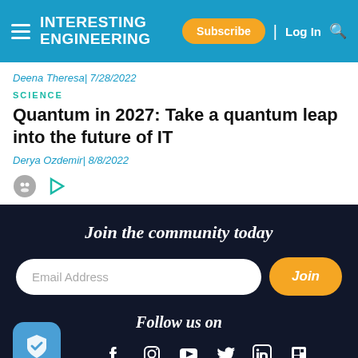INTERESTING ENGINEERING | Subscribe | Log In
Deena Theresa| 7/28/2022
SCIENCE
Quantum in 2027: Take a quantum leap into the future of IT
Derya Ozdemir| 8/8/2022
Join the community today
Email Address
Join
Follow us on